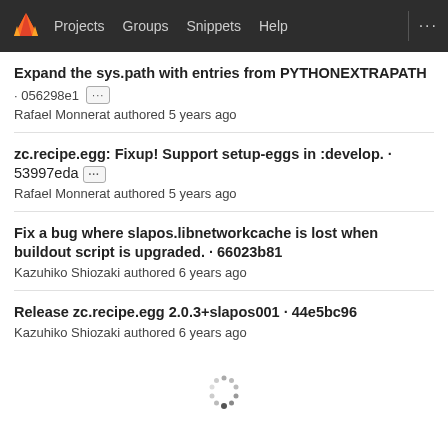Projects  Groups  Snippets  Help
Expand the sys.path with entries from PYTHONEXTRAPATH · 056298e1 [...] Rafael Monnerat authored 5 years ago
zc.recipe.egg: Fixup! Support setup-eggs in :develop. · 53997eda [...] Rafael Monnerat authored 5 years ago
Fix a bug where slapos.libnetworkcache is lost when buildout script is upgraded. · 66023b81 Kazuhiko Shiozaki authored 6 years ago
Release zc.recipe.egg 2.0.3+slapos001 · 44e5bc96 Kazuhiko Shiozaki authored 6 years ago
[Figure (other): Loading spinner indicator]